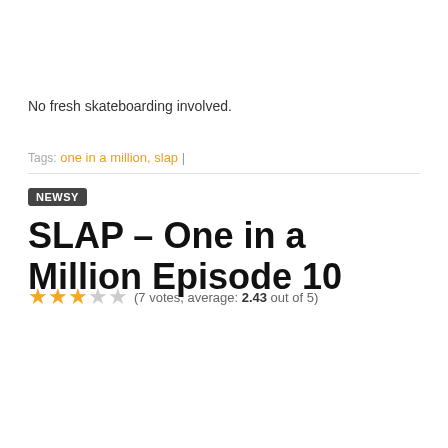No fresh skateboarding involved.
Tags: one in a million, slap
NEWSY
SLAP – One in a Million Episode 10
(7 votes, average: 2.43 out of 5)